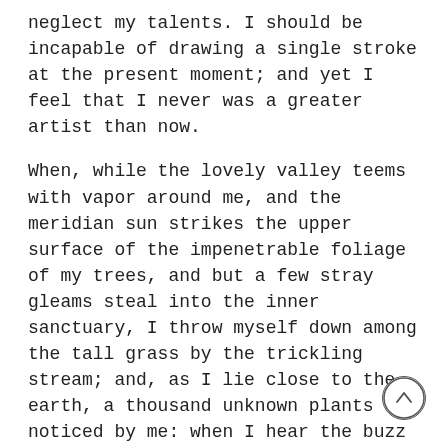neglect my talents. I should be incapable of drawing a single stroke at the present moment; and yet I feel that I never was a greater artist than now.
When, while the lovely valley teems with vapor around me, and the meridian sun strikes the upper surface of the impenetrable foliage of my trees, and but a few stray gleams steal into the inner sanctuary, I throw myself down among the tall grass by the trickling stream; and, as I lie close to the earth, a thousand unknown plants are noticed by me: when I hear the buzz of the little world among the stalks, and grow familiar with the countless indescribable forms of the insects and flies, then I feel the presence of the Almighty, who formed us in his own image, and the breath of that universal love which bears and sustains us, as it floats around us in an eternity of bliss; and then, my friend, when darkness overspreads my eye and heaven and earth seem to dwell in my soul and